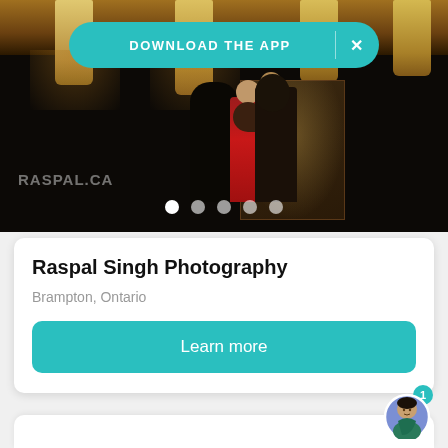[Figure (photo): Photography portfolio hero image showing a couple in a dark venue with pendant lights overhead. A figure in a red dress is embracing another person. The watermark RASPAL.CA is visible in the lower left. Five dot navigation indicators appear at the bottom. A teal 'DOWNLOAD THE APP' banner with an X close button overlays the top of the image.]
Raspal Singh Photography
Brampton, Ontario
Learn more
[Figure (illustration): Chat avatar icon showing a cartoon illustration of a person wearing a green sari/traditional Indian clothing. Has a circular badge with the number 1 in teal on the top right.]